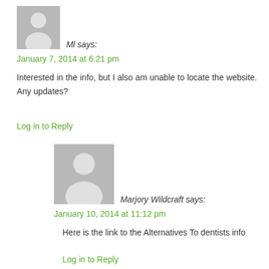[Figure (illustration): Generic user avatar silhouette - gray square with white person silhouette]
Ml says:
January 7, 2014 at 6:21 pm
Interested in the info, but I also am unable to locate the website. Any updates?
Log in to Reply
[Figure (illustration): Generic user avatar silhouette - gray square with white person silhouette, larger]
Marjory Wildcraft says:
January 10, 2014 at 11:12 pm
Here is the link to the Alternatives To dentists info
Log in to Reply